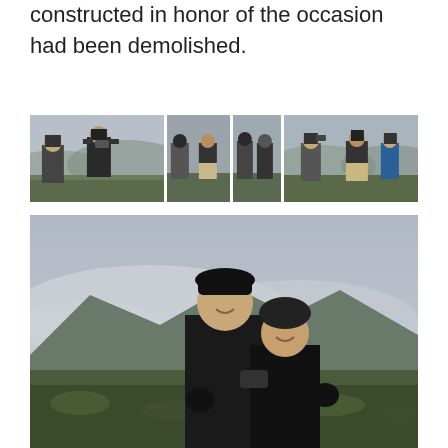constructed in honor of the occasion had been demolished.
[Figure (photo): Four outdoor photos in a row showing people on a rocky mountainous landscape with binoculars and cameras, overcast sky]
[Figure (photo): A couple posing for a photo on a rocky highland landscape with cloudy mountains in the background; man in black jacket and hat, woman in dark jacket and hat]